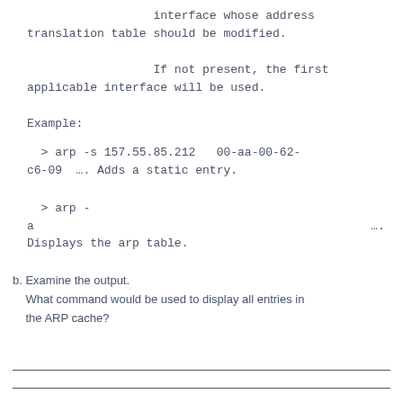interface whose address translation table should be modified.
If not present, the first applicable interface will be used.
Example:
> arp -s 157.55.85.212   00-aa-00-62-c6-09  …. Adds a static entry.
> arp -
a                                                    ….
Displays the arp table.
b. Examine the output.
What command would be used to display all entries in the ARP cache?